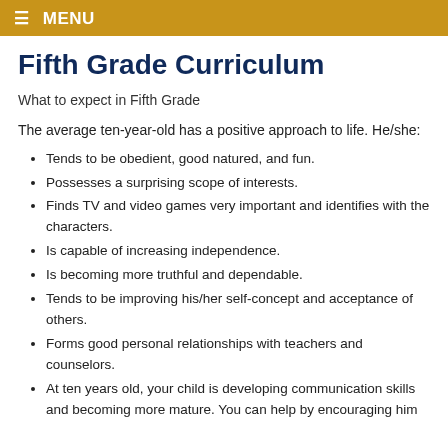≡ MENU
Fifth Grade Curriculum
What to expect in Fifth Grade
The average ten-year-old has a positive approach to life. He/she:
Tends to be obedient, good natured, and fun.
Possesses a surprising scope of interests.
Finds TV and video games very important and identifies with the characters.
Is capable of increasing independence.
Is becoming more truthful and dependable.
Tends to be improving his/her self-concept and acceptance of others.
Forms good personal relationships with teachers and counselors.
At ten years old, your child is developing communication skills and becoming more mature. You can help by encouraging him